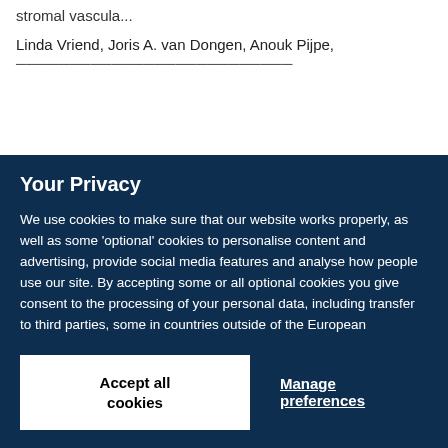stromal vascula...
Linda Vriend, Joris A. van Dongen, Anouk Pijpe,
Your Privacy
We use cookies to make sure that our website works properly, as well as some 'optional' cookies to personalise content and advertising, provide social media features and analyse how people use our site. By accepting some or all optional cookies you give consent to the processing of your personal data, including transfer to third parties, some in countries outside of the European Economic Area that do not offer the same data protection standards as the country where you live. You can decide which optional cookies to accept by clicking on 'Manage Settings', where you can also find more information about how your personal data is processed. Further information can be found in our privacy policy.
Accept all cookies
Manage preferences